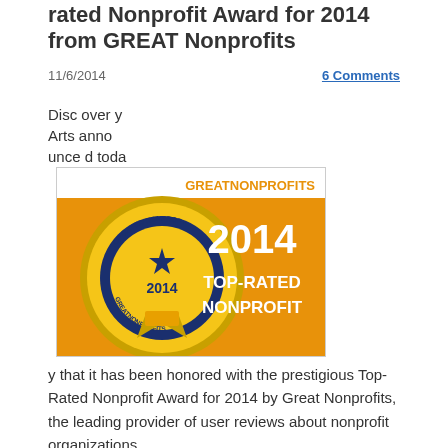rated Nonprofit Award for 2014 from GREAT Nonprofits
11/6/2014
6 Comments
[Figure (logo): GreatNonprofits 2014 Top-Rated Nonprofit Award badge — gold seal with blue star and text '2014 TOP-RATED NONPROFIT' on orange background]
Discovery Arts announced today that it has been honored with the prestigious Top-Rated Nonprofit Award for 2014 by Great Nonprofits, the leading provider of user reviews about nonprofit organizations.